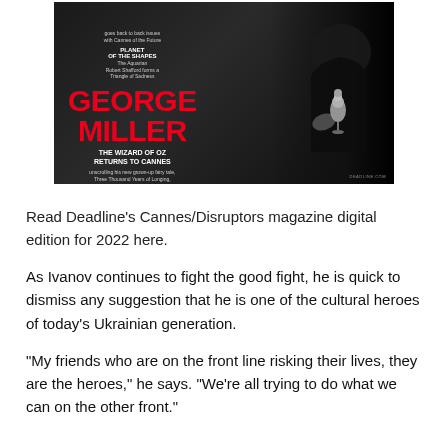[Figure (photo): Magazine cover of Deadline's Cannes/Disruptors issue featuring George Miller in black and white, holding a trophy-like object. Cover text includes 'GEORGE MILLER', 'THE WIZARD OF OZ RETURNS TO CANNES', 'PLANET OF THE SHAPES', 'PLUS: PARK CHAN-WOOK, JOE ALWYN, PAAPA ESSIEDU and more Cannes stories...']
Read Deadline's Cannes/Disruptors magazine digital edition for 2022 here.
As Ivanov continues to fight the good fight, he is quick to dismiss any suggestion that he is one of the cultural heroes of today's Ukrainian generation.
“My friends who are on the front line risking their lives, they are the heroes,” he says. “We’re all trying to do what we can on the other front.”